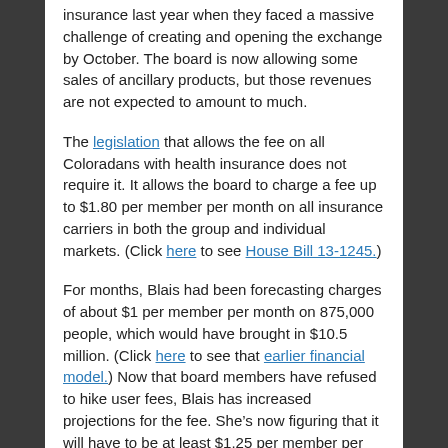insurance last year when they faced a massive challenge of creating and opening the exchange by October. The board is now allowing some sales of ancillary products, but those revenues are not expected to amount to much.
The legislation that allows the fee on all Coloradans with health insurance does not require it. It allows the board to charge a fee up to $1.80 per member per month on all insurance carriers in both the group and individual markets. (Click here to see House Bill 13-1245.)
For months, Blais had been forecasting charges of about $1 per member per month on 875,000 people, which would have brought in $10.5 million. (Click here to see that earlier financial model.) Now that board members have refused to hike user fees, Blais has increased projections for the fee. She’s now figuring that it will have to be at least $1.25 per member per month. That would generate $13.1 million.
Blais said exchange managers are not pushing for one